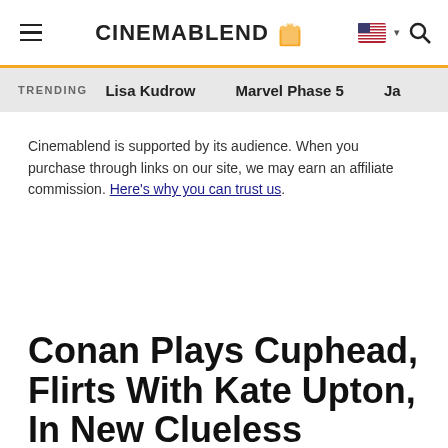CINEMABLEND
TRENDING   Lisa Kudrow   Marvel Phase 5   Ja…
Cinemablend is supported by its audience. When you purchase through links on our site, we may earn an affiliate commission. Here's why you can trust us.
Conan Plays Cuphead, Flirts With Kate Upton, In New Clueless